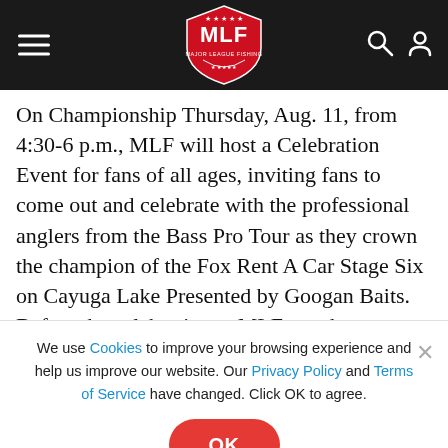MLF Major League Fishing navigation bar with hamburger menu, MLF shield logo, search and user icons
On Championship Thursday, Aug. 11, from 4:30-6 p.m., MLF will host a Celebration Event for fans of all ages, inviting fans to come out and celebrate with the professional anglers from the Bass Pro Tour as they crown the champion of the Fox Rent A Car Stage Six on Cayuga Lake Presented by Googan Baits. Before the celebration, a MLF watch party starts at 1:30 p.m., and the first 50 middle school or high school anglers in attendance will receive a free Abu Garcia rod and reel combo
We use Cookies to improve your browsing experience and help us improve our website. Our Privacy Policy and Terms of Service have changed. Click OK to agree.
[Figure (other): Ultrex by Minn Kota advertisement banner. Yellow and black background with ULTREX logo text, PROVEN POWER tagline, Minn Kota logo, and EXPLORE ULTREX call to action.]